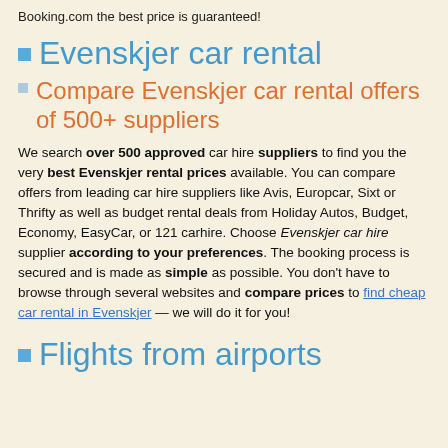Booking.com the best price is guaranteed!
Evenskjer car rental
Compare Evenskjer car rental offers of 500+ suppliers
We search over 500 approved car hire suppliers to find you the very best Evenskjer rental prices available. You can compare offers from leading car hire suppliers like Avis, Europcar, Sixt or Thrifty as well as budget rental deals from Holiday Autos, Budget, Economy, EasyCar, or 121 carhire. Choose Evenskjer car hire supplier according to your preferences. The booking process is secured and is made as simple as possible. You don't have to browse through several websites and compare prices to find cheap car rental in Evenskjer — we will do it for you!
Flights from airports